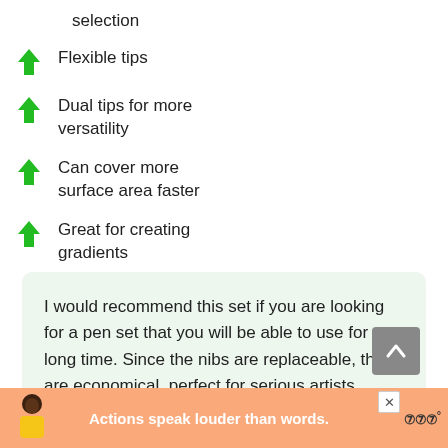selection
Flexible tips
Dual tips for more versatility
Can cover more surface area faster
Great for creating gradients
I would recommend this set if you are looking for a pen set that you will be able to use for a long time. Since the nibs are replaceable, they are economical, perfect for serious artists.
[Figure (infographic): Advertisement banner with a person and text 'Actions speak louder than words.' with a logo]